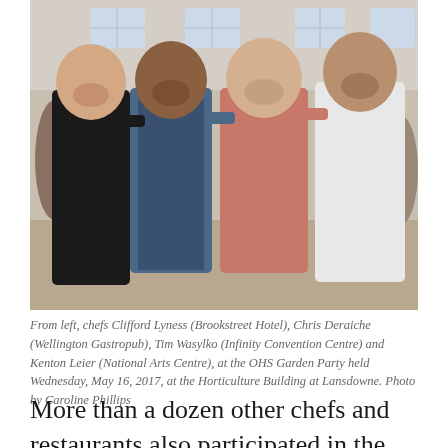[Figure (photo): Four men standing together smiling with arms around each other inside what appears to be a large hall or event venue. From left: a man in a black chef's jacket, a man in a blue denim apron over a blue shirt, a man in a plaid shirt, and a man in a white chef's jacket.]
From left, chefs Clifford Lyness (Brookstreet Hotel), Chris Deraiche (Wellington Gastropub), Tim Wasylko (Infinity Convention Centre) and Kenton Leier (National Arts Centre), at the OHS Garden Party held Wednesday, May 16, 2017, at the Horticulture Building at Lansdowne. Photo by Caroline Phillips
More than a dozen other chefs and restaurants also participated in the event by